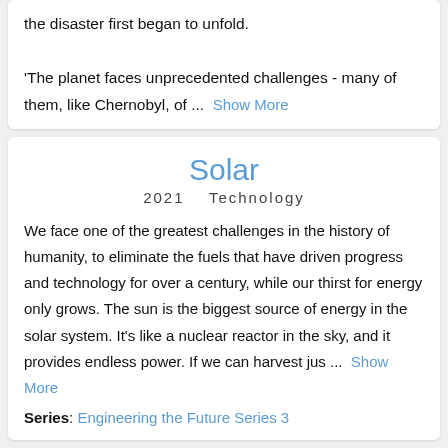the disaster first began to unfold.

'The planet faces unprecedented challenges - many of them, like Chernobyl, of ... Show More
Solar
2021    Technology
We face one of the greatest challenges in the history of humanity, to eliminate the fuels that have driven progress and technology for over a century, while our thirst for energy only grows. The sun is the biggest source of energy in the solar system. It's like a nuclear reactor in the sky, and it provides endless power. If we can harvest jus ... Show More
Series: Engineering the Future Series 3